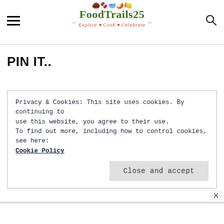FoodTrails25 — Explore • Cook • Celebrate
PIN IT..
Privacy & Cookies: This site uses cookies. By continuing to use this website, you agree to their use. To find out more, including how to control cookies, see here: Cookie Policy
Close and accept